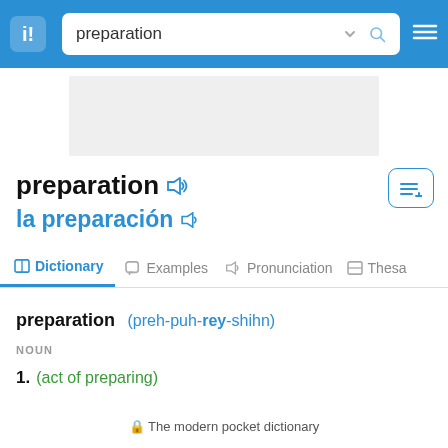preparation (search bar)
[Figure (screenshot): Gray advertisement placeholder box]
preparation
la preparación
Dictionary   Examples   Pronunciation   Thesa
preparation (preh-puh-rey-shihn)
NOUN
1. (act of preparing)
🔒 The modern pocket dictionary